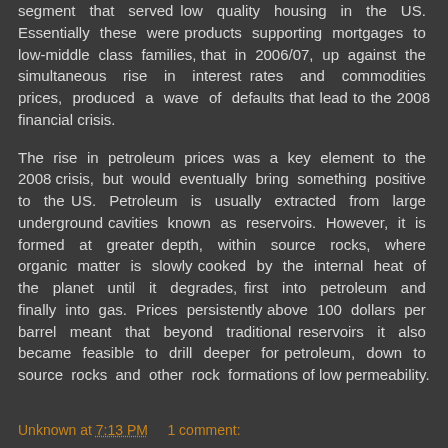segment that served low quality housing in the US. Essentially these were products supporting mortgages to low-middle class families, that in 2006/07, up against the simultaneous rise in interest rates and commodities prices, produced a wave of defaults that lead to the 2008 financial crisis.
The rise in petroleum prices was a key element to the 2008 crisis, but would eventually bring something positive to the US. Petroleum is usually extracted from large underground cavities known as reservoirs. However, it is formed at greater depth, within source rocks, where organic matter is slowly cooked by the internal heat of the planet until it degrades, first into petroleum and finally into gas. Prices persistently above 100 dollars per barrel meant that beyond traditional reservoirs it also became feasible to drill deeper for petroleum, down to source rocks and other rock formations of low permeability.
Unknown at 7:13 PM    1 comment: